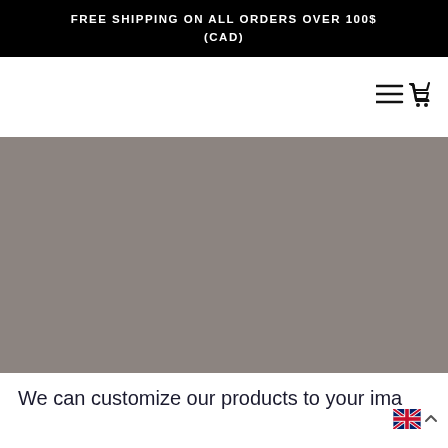FREE SHIPPING ON ALL ORDERS OVER 100$ (CAD)
[Figure (screenshot): Navigation bar with hamburger menu icon and shopping cart icon on white background]
[Figure (photo): Large grey/taupe hero image placeholder area]
We can customize our products to your ima
[Figure (illustration): UK flag language selector widget with upward chevron arrow]